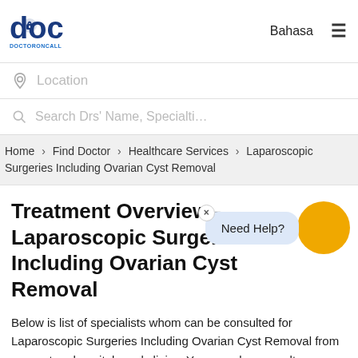[Figure (logo): DoctorOnCall logo - blue 'doc' text with lock icon and 'DOCTORONCALL.COM.MY' text below]
Bahasa ≡
Location
Search Drs' Name, Specialti…
Home › Find Doctor › Healthcare Services › Laparoscopic Surgeries Including Ovarian Cyst Removal
Treatment Overview - Laparoscopic Surgeries Including Ovarian Cyst Removal
Below is list of specialists whom can be consulted for Laparoscopic Surgeries Including Ovarian Cyst Removal from our partner hospitals and clinics. You can also consult a general practitioner for common medical enquiries. Click here to consult online now.